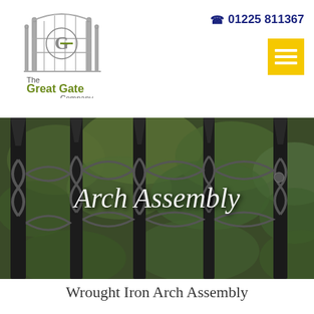[Figure (logo): The Great Gate Company logo with gate illustration and circular G emblem]
01225 811367
[Figure (other): Yellow hamburger menu button with three white horizontal bars]
[Figure (photo): Close-up photograph of ornate wrought iron gate with decorative scrollwork and spear tips against green foliage background, with overlaid italic text 'Arch Assembly']
Wrought Iron Arch Assembly